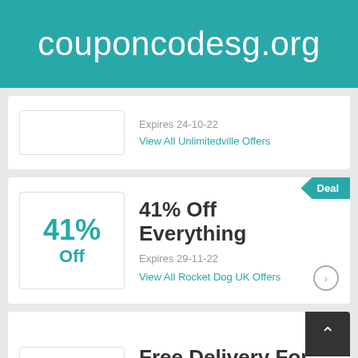couponcodesg.org
Expires 24-10-22
View All Unlimitedville Offers
[Figure (other): Coupon card with Deal badge showing 41% Off Everything, Expires 29-11-22, View All Rocket Dog UK Offers]
[Figure (other): Coupon card with scroll-to-top button showing $100 off and Free Delivery For Orders Over $100 At Yoox Now]